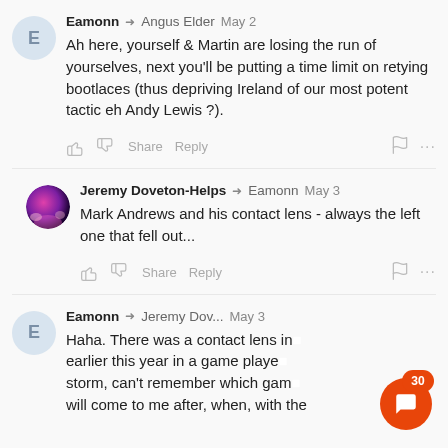[Figure (screenshot): Comment thread screenshot showing social media comments]
Eamonn → Angus Elder May 2
Ah here, yourself & Martin are losing the run of yourselves, next you'll be putting a time limit on retying bootlaces (thus depriving Ireland of our most potent tactic eh Andy Lewis ?).
Jeremy Doveton-Helps → Eamonn May 3
Mark Andrews and his contact lens - always the left one that fell out...
Eamonn → Jeremy Dov... May 3
Haha. There was a contact lens in... earlier this year in a game played... storm, can't remember which gam... will come to me after, when, with the